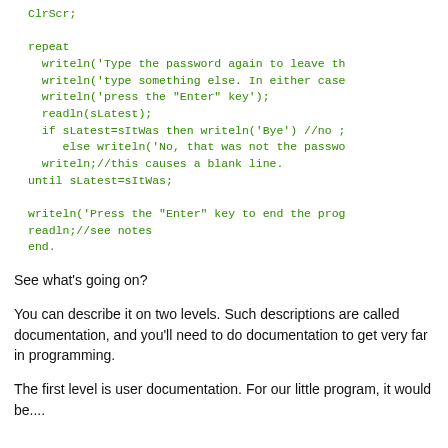ClrScr;

repeat
  writeln('Type the password again to leave th
  writeln('type something else. In either case
  writeln('press the "Enter" key');
  readln(sLatest);
  if sLatest=sItWas then writeln('Bye') //no ;
     else writeln('No, that was not the passwo
  writeln;//this causes a blank line.
until sLatest=sItWas;

writeln('Press the "Enter" key to end the prog
readln;//see notes
end.
See what's going on?
You can describe it on two levels. Such descriptions are called documentation, and you'll need to do documentation to get very far in programming.
The first level is user documentation. For our little program, it would be....